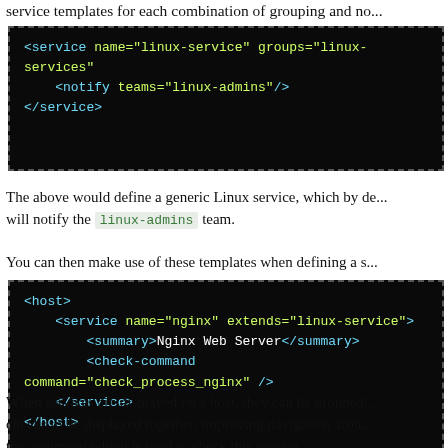service templates for each combination of grouping and no...
[Figure (screenshot): Code block showing XML service definition: <service name="linux-service" groups="linux-services"> <notify teams="linux-admins"/> </service>]
The above would define a generic Linux service, which by de... will notify the linux-admins team.
You can then make use of these templates when defining a s...
[Figure (screenshot): Code block showing XML host/service definition: <host> <service name="nginx" extends="linux-service"> <summary>Nginx Web Server</summary> <check-command command="check_process_nginx" /> </service> </host>]
When services are displayed on a host, they can be grouped... checks to be displayed together, improving navigation arou... the command which is used to check this service.